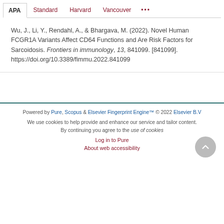APA | Standard | Harvard | Vancouver | ...
Wu, J., Li, Y., Rendahl, A., & Bhargava, M. (2022). Novel Human FCGR1A Variants Affect CD64 Functions and Are Risk Factors for Sarcoidosis. Frontiers in immunology, 13, 841099. [841099]. https://doi.org/10.3389/fimmu.2022.841099
Powered by Pure, Scopus & Elsevier Fingerprint Engine™ © 2022 Elsevier B.V
We use cookies to help provide and enhance our service and tailor content. By continuing you agree to the use of cookies
Log in to Pure
About web accessibility